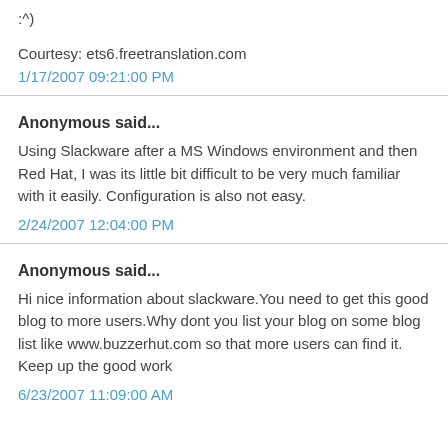:^)
Courtesy: ets6.freetranslation.com
1/17/2007 09:21:00 PM
Anonymous said...
Using Slackware after a MS Windows environment and then Red Hat, I was its little bit difficult to be very much familiar with it easily. Configuration is also not easy.
2/24/2007 12:04:00 PM
Anonymous said...
Hi nice information about slackware.You need to get this good blog to more users.Why dont you list your blog on some blog list like www.buzzerhut.com so that more users can find it.
Keep up the good work
6/23/2007 11:09:00 AM